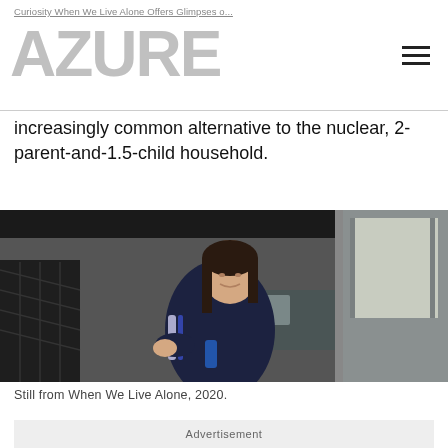Curiosity When We Live Alone Offers Glimpses o...
increasingly common alternative to the nuclear, 2-parent-and-1.5-child household.
[Figure (photo): Still from When We Live Alone, 2020. A young woman in a dark athletic jacket stands in a small apartment kitchen, facing slightly to the right. The space has a kitchen counter with items visible in the background.]
Still from When We Live Alone, 2020.
Advertisement